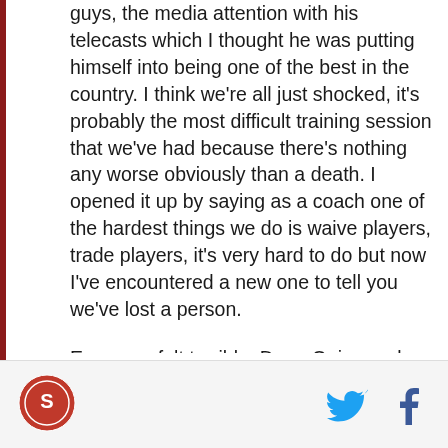guys, the media attention with his telecasts which I thought he was putting himself into being one of the best in the country. I think we're all just shocked, it's probably the most difficult training session that we've had because there's nothing any worse obviously than a death. I opened it up by saying as a coach one of the hardest things we do is waive players, trade players, it's very hard to do but now I've encountered a new one to tell you we've lost a person.
Everyone felt terrible, Doug Quinn and Dan Hunt came out to the practice at the end and addressed the team. From what Doug said, we've received permission from the league to wear black armbands
[Figure (logo): Circular red and white sports team logo]
[Figure (logo): Twitter bird icon in cyan blue]
[Figure (logo): Facebook f icon in navy blue]